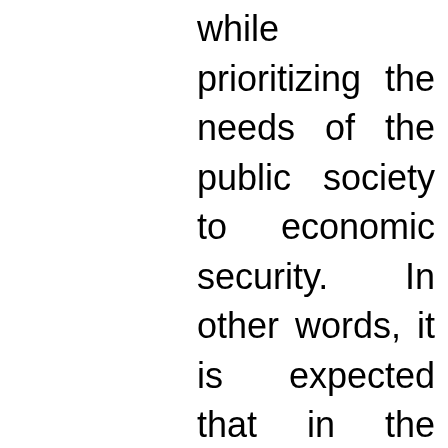while prioritizing the needs of the public society to economic security. In other words, it is expected that in the near future, the interest of the society will be given a priority to the freedom of the individual. This will definitely influence how the world system should perceive and handle the basic principles of human rights. We have already started to see a change to the traditional human rights rhetoric to keep up with the consequences of